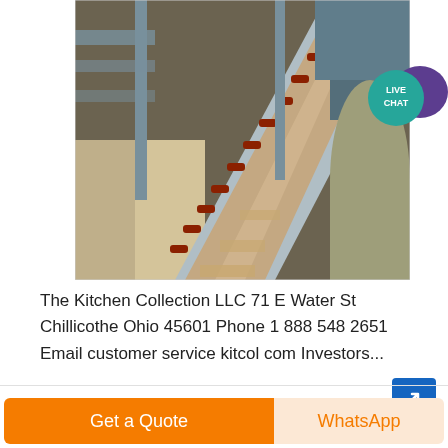[Figure (photo): Industrial conveyor belt system in a factory or grain processing facility, showing belt conveyors with rollers and support structures carrying granular material]
[Figure (other): Live Chat badge/button with teal circle containing 'LIVE CHAT' text and a purple speech bubble icon]
The Kitchen Collection LLC 71 E Water St Chillicothe Ohio 45601 Phone 1 888 548 2651 Email customer service kitcol com Investors...
[Figure (other): Blue square button with white diagonal arrow/link icon]
Get a Quote
WhatsApp